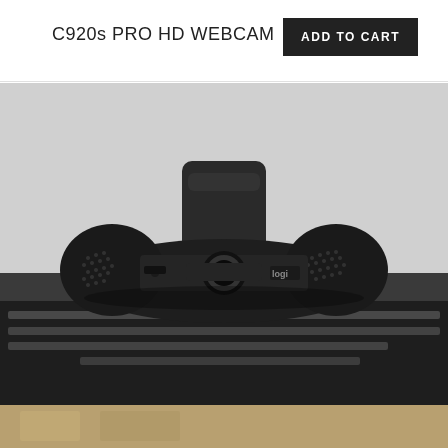C920s PRO HD WEBCAM
ADD TO CART
[Figure (photo): Close-up front view of Logitech C920s Pro HD Webcam mounted on top of a monitor, showing the camera body, lens, microphone, and Logitech logo. The monitor screen below shows blurred text content.]